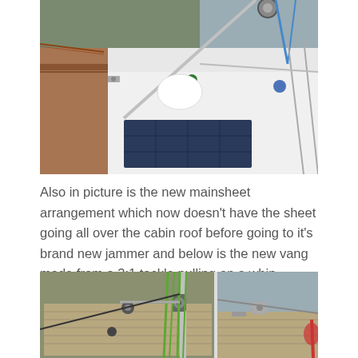[Figure (photo): Sailboat deck with solar panel, rigging, pulleys, ropes, and a boom. View from above showing cabin roof with solar panel and mainsheet arrangement.]
Also in picture is the new mainsheet arrangement which now doesn’t have the sheet going all over the cabin roof before going to it’s brand new jammer and below is the new vang made from a 3:1 tackle pulling on a whip.
[Figure (photo): Two sailboat deck photos side by side showing vang tackle arrangement with green ropes, pulleys, and mast fittings at a marina dock.]